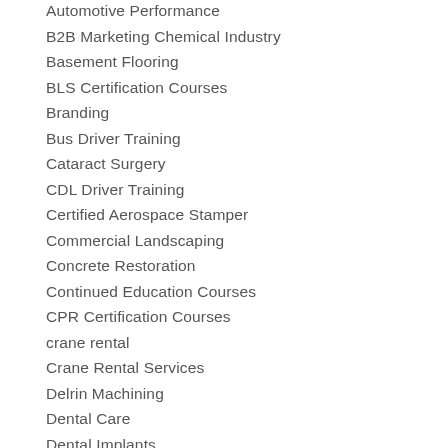Automotive Performance
B2B Marketing Chemical Industry
Basement Flooring
BLS Certification Courses
Branding
Bus Driver Training
Cataract Surgery
CDL Driver Training
Certified Aerospace Stamper
Commercial Landscaping
Concrete Restoration
Continued Education Courses
CPR Certification Courses
crane rental
Crane Rental Services
Delrin Machining
Dental Care
Dental Implants
dermal fillers